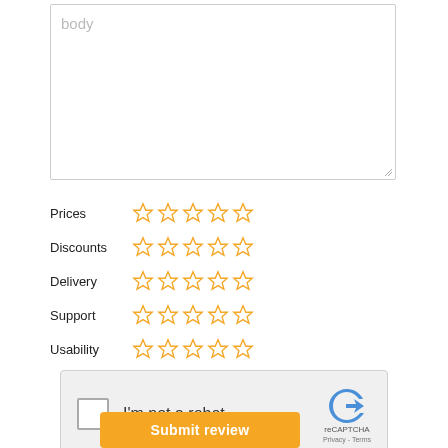[Figure (screenshot): Textarea input field with placeholder text 'body']
Prices ☆☆☆☆☆
Discounts ☆☆☆☆☆
Delivery ☆☆☆☆☆
Support ☆☆☆☆☆
Usability ☆☆☆☆☆
[Figure (screenshot): reCAPTCHA widget with checkbox 'I'm not a robot']
Submit review